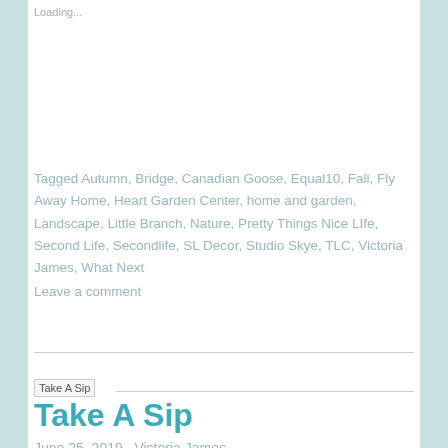Loading...
Tagged Autumn, Bridge, Canadian Goose, Equal10, Fall, Fly Away Home, Heart Garden Center, home and garden, Landscape, Little Branch, Nature, Pretty Things Nice LIfe, Second Life, Secondlife, SL Decor, Studio Skye, TLC, Victoria James, What Next
Leave a comment
[Figure (photo): Broken image placeholder labeled 'Take A Sip']
Take A Sip
June 25, 2019   Victoria James
Featuring -:ZK:- Store and Fashiowl Poses   Well, its